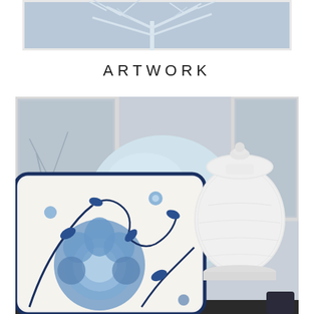[Figure (photo): Top portion of a framed artwork showing white botanical/tree branch motif on a blue-grey background, with a white frame border visible.]
ARTWORK
[Figure (photo): Interior decor styled photo showing blue and white floral chinoiserie decorative cushion/pillow in foreground, a pale blue satin cushion behind it, a white ceramic ginger jar with textured surface on the right, and framed botanical artwork pieces on the wall in the background.]